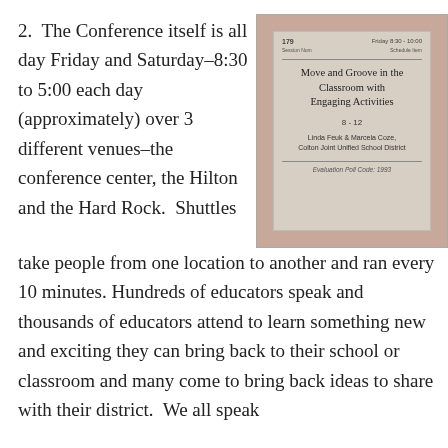2.  The Conference itself is all day Friday and Saturday–8:30 to 5:00 each day (approximately) over 3 different venues–the conference center, the Hilton and the Hard Rock.  Shuttles take people from one location to another and ran every 10 minutes. Hundreds of educators speak and thousands of educators attend to learn something new and exciting they can bring back to their school or classroom and many come to bring back ideas to share with their district.  We all speak
[Figure (photo): A photograph of a conference session card/placard showing: session number 179, Friday 8:30-10:00, with titles 'Move and Groove in the Classroom with Engaging Activities', grade level 8-12, presenters Linda Feuk & Marcela Coze, Colton Joint Unified School District, and Evaluation Poll Code: 1993]